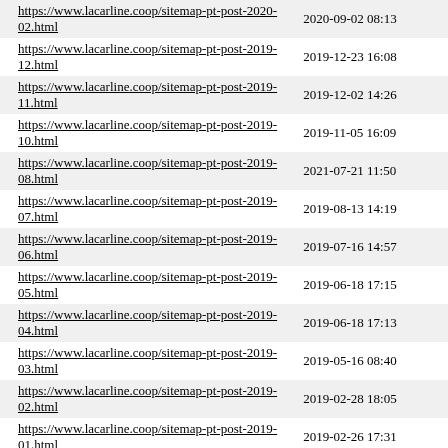| https://www.lacarline.coop/sitemap-pt-post-2020-02.html | 2020-09-02 08:13 |
| https://www.lacarline.coop/sitemap-pt-post-2019-12.html | 2019-12-23 16:08 |
| https://www.lacarline.coop/sitemap-pt-post-2019-11.html | 2019-12-02 14:26 |
| https://www.lacarline.coop/sitemap-pt-post-2019-10.html | 2019-11-05 16:09 |
| https://www.lacarline.coop/sitemap-pt-post-2019-08.html | 2021-07-21 11:50 |
| https://www.lacarline.coop/sitemap-pt-post-2019-07.html | 2019-08-13 14:19 |
| https://www.lacarline.coop/sitemap-pt-post-2019-06.html | 2019-07-16 14:57 |
| https://www.lacarline.coop/sitemap-pt-post-2019-05.html | 2019-06-18 17:15 |
| https://www.lacarline.coop/sitemap-pt-post-2019-04.html | 2019-06-18 17:13 |
| https://www.lacarline.coop/sitemap-pt-post-2019-03.html | 2019-05-16 08:40 |
| https://www.lacarline.coop/sitemap-pt-post-2019-02.html | 2019-02-28 18:05 |
| https://www.lacarline.coop/sitemap-pt-post-2019-01.html | 2019-02-26 17:31 |
| https://www.lacarline.coop/sitemap-pt-post-2018-12.html | 2018-12-22 14:11 |
| https://www.lacarline.coop/sitemap-pt-post-2018-11.html | 2018-11-16 13:22 |
| https://www.lacarline.coop/sitemap-pt-post-2018-10.html | 2018-10-23 08:39 |
| https://www.lacarline.coop/sitemap-pt-post-2018-09.html | 2018-09-26 07:06 |
| https://www.lacarline.coop/sitemap-pt-post-2018-08.html | 2018-08-29 14:14 |
| https://www.lacarline.coop/sitemap-pt-post-2018-07.html | 2018-07-19 16:04 |
| https://www.lacarline.coop/sitemap-pt-post-2018-06.html | 2018-06-08 17:45 |